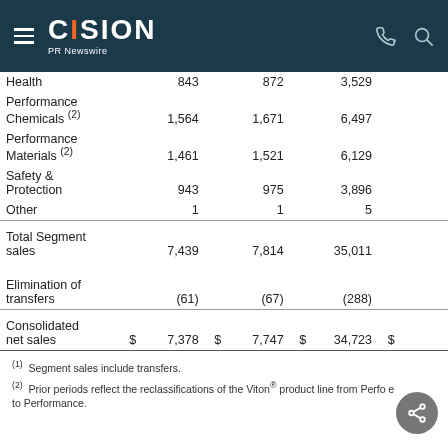CISION PR Newswire
|  |  |  |  |  |
| --- | --- | --- | --- | --- |
| Health |  | 843 |  | 872 |  | 3,529 |  |
| Performance Chemicals (2) |  | 1,564 |  | 1,671 |  | 6,497 |  |
| Performance Materials (2) |  | 1,461 |  | 1,521 |  | 6,129 |  |
| Safety & Protection |  | 943 |  | 975 |  | 3,896 |  |
| Other |  | 1 |  | 1 |  | 5 |  |
| Total Segment sales |  | 7,439 |  | 7,814 |  | 35,011 |  |
| Elimination of transfers |  | (61) |  | (67) |  | (288) |  |
| Consolidated net sales | $ | 7,378 | $ | 7,747 | $ | 34,723 | $ |
(1)  Segment sales include transfers.
(2)  Prior periods reflect the reclassifications of the Viton® product line from Performance to Performance.